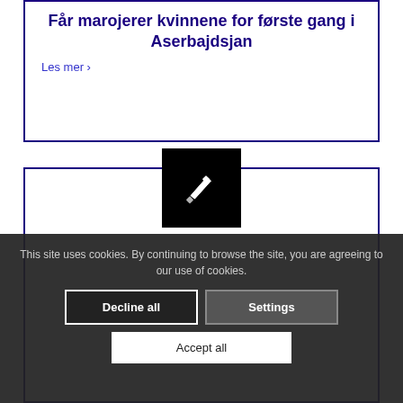Får marojerer kvinnene for første gang i Aserbajdsjan
Les mer ›
[Figure (illustration): Black square with white pencil/edit icon in center]
11-06-15
Fridtjof Nansens gate i Oslo
Les mer ›
This site uses cookies. By continuing to browse the site, you are agreeing to our use of cookies.
Decline all
Settings
Accept all